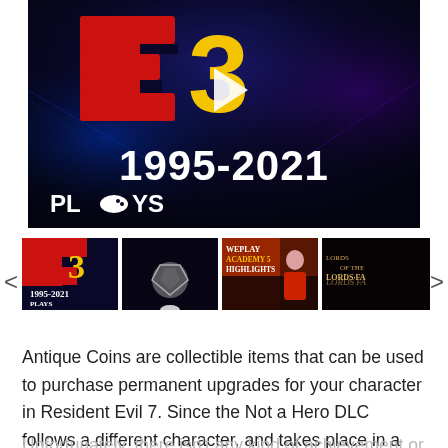[Figure (screenshot): Video thumbnail showing E3 logo with red E and yellow 3, text '1995-2021' and 'PLAYS' with a play button overlay on a dark blue gaming arena background]
[Figure (screenshot): Horizontal strip of four video thumbnails: E3 1995-2021 Plays, a space/diamond game, WePlay Academy 5 Highlights, Lords of the Fallen. With left and right navigation arrows.]
Antique Coins are collectible items that can be used to purchase permanent upgrades for your character in Resident Evil 7. Since the Not a Hero DLC follows a different character, and takes place in a new area, there are not 10 new Antique Coins to find and collect.
Unfortunately, there isn't any kind of achievement or